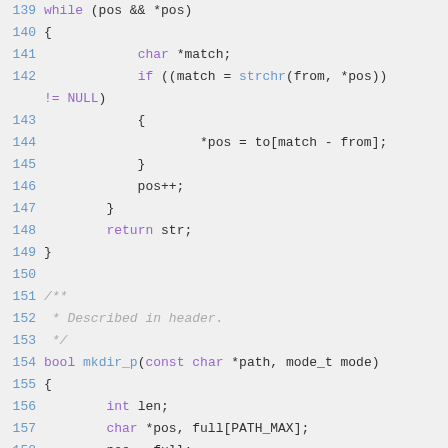Source code listing, lines 139–162, C language
139    while (pos && *pos)
140    {
141        char *match;
142        if ((match = strchr(from, *pos))
!= NULL)
143        {
144            *pos = to[match - from];
145        }
146        pos++;
147    }
148    return str;
149 }
150
151 /**
152  * Described in header.
153  */
154 bool mkdir_p(const char *path, mode_t mode)
155 {
156        int len;
157        char *pos, full[PATH_MAX];
158        pos = full;
159        if (!path || *path == '\0')
160        {
161            return TRUE;
162        }